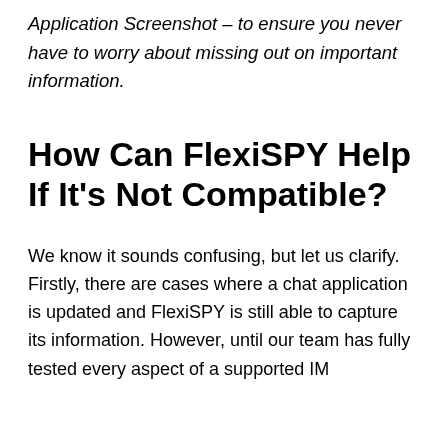Application Screenshot – to ensure you never have to worry about missing out on important information.
How Can FlexiSPY Help If It's Not Compatible?
We know it sounds confusing, but let us clarify. Firstly, there are cases where a chat application is updated and FlexiSPY is still able to capture its information. However, until our team has fully tested every aspect of a supported IM